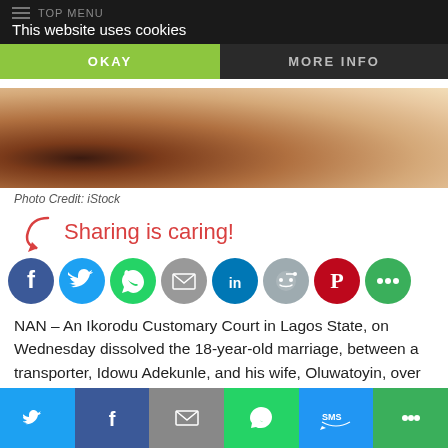This website uses cookies
[Figure (photo): Close-up photo of a person, partially visible, warm skin tones]
Photo Credit: iStock
Sharing is caring!
[Figure (infographic): Row of social media share buttons: Facebook, Twitter, WhatsApp, Email, LinkedIn, Reddit, Pinterest, More]
NAN – An Ikorodu Customary Court in Lagos State, on Wednesday dissolved the 18-year-old marriage, between a transporter, Idowu Adekunle, and his wife, Oluwatoyin, over wife's “food starvation.”
Granting Adekunle’s wishes, the court’s president, Olu Adebiyi, said that all efforts by the court and family members to reconcile
Twitter | Facebook | Email | WhatsApp | SMS | More